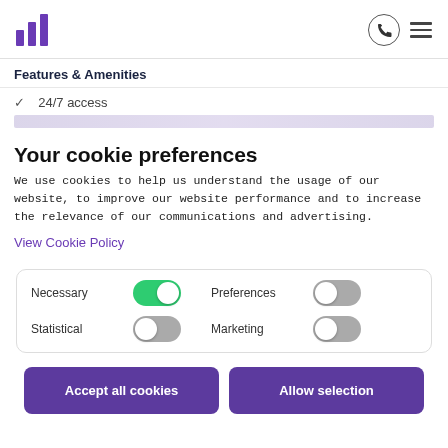[Logo] [Phone icon] [Menu icon]
Features & Amenities
✓  24/7 access
Your cookie preferences
We use cookies to help us understand the usage of our website, to improve our website performance and to increase the relevance of our communications and advertising.
View Cookie Policy
Necessary [toggle on]  Preferences [toggle off]  Statistical [toggle off]  Marketing [toggle off]
Accept all cookies
Allow selection